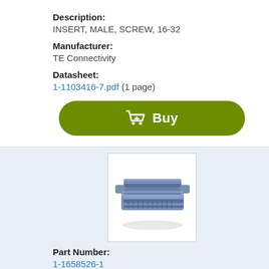Description:
INSERT, MALE, SCREW, 16-32
Manufacturer:
TE Connectivity
Datasheet:
1-1103416-7.pdf  (1 page)
[Figure (other): Green Buy button with shopping cart icon]
[Figure (photo): Photo of blue electronic connector insert part]
Part Number:
1-1658526-1
Description: